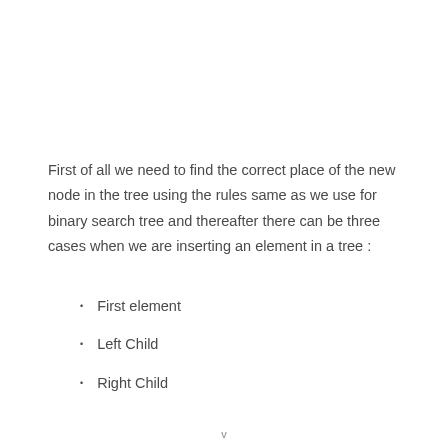First of all we need to find the correct place of the new node in the tree using the rules same as we use for binary search tree and thereafter there can be three cases when we are inserting an element in a tree :
First element
Left Child
Right Child
v